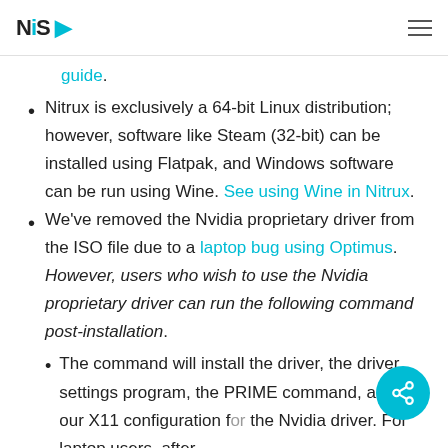NitruxOS logo and hamburger menu
guide. (link)
Nitrux is exclusively a 64-bit Linux distribution; however, software like Steam (32-bit) can be installed using Flatpak, and Windows software can be run using Wine. See using Wine in Nitrux.
We've removed the Nvidia proprietary driver from the ISO file due to a laptop bug using Optimus. However, users who wish to use the Nvidia proprietary driver can run the following command post-installation.
The command will install the driver, the driver settings program, the PRIME command, and our X11 configuration for the Nvidia driver. For laptop users, after installing, you should look for the PRIME...